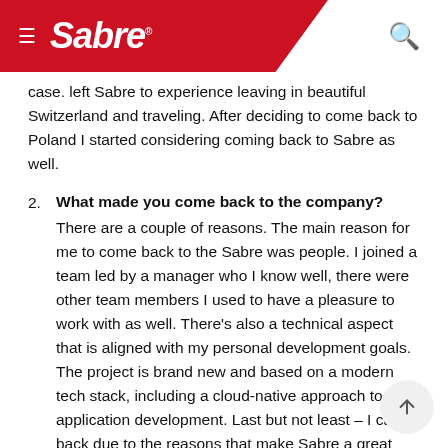Sabre
case. left Sabre to experience leaving in beautiful Switzerland and traveling. After deciding to come back to Poland I started considering coming back to Sabre as well.
2. What made you come back to the company? There are a couple of reasons. The main reason for me to come back to the Sabre was people. I joined a team led by a manager who I know well, there were other team members I used to have a pleasure to work with as well. There's also a technical aspect that is aligned with my personal development goals. The project is brand new and based on a modern tech stack, including a cloud-native approach to application development. Last but not least – I came back due to the reasons that make Sabre a great place to work.
3. According to you, what makes Sabre Polska a great